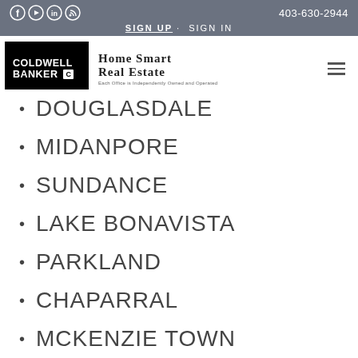403-630-2944 | SIGN UP · SIGN IN | Coldwell Banker Home Smart Real Estate
DOUGLASDALE
MIDANPORE
SUNDANCE
LAKE BONAVISTA
PARKLAND
CHAPARRAL
MCKENZIE TOWN
TOWN OF OKOTOKS